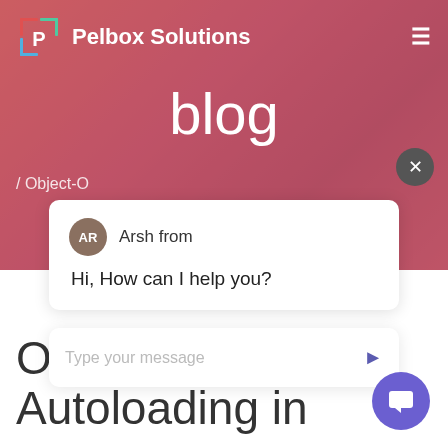[Figure (screenshot): Pelbox Solutions website header with pink/red gradient background showing blog page]
Pelbox Solutions
blog
/ Object-O
[Figure (infographic): Chat widget popup showing avatar AR for Arsh, message 'Hi, How can I help you?' and a message input field reading 'Type your message']
Object-Oriented Autoloading in